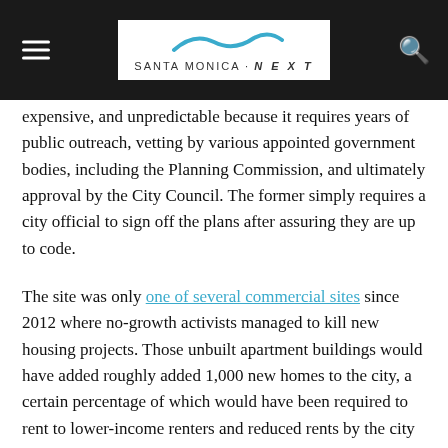Santa Monica NEXT
expensive, and unpredictable because it requires years of public outreach, vetting by various appointed government bodies, including the Planning Commission, and ultimately approval by the City Council. The former simply requires a city official to sign off the plans after assuring they are up to code.
The site was only one of several commercial sites since 2012 where no-growth activists managed to kill new housing projects. Those unbuilt apartment buildings would have added roughly added 1,000 new homes to the city, a certain percentage of which would have been required to rent to lower-income renters and reduced rents by the city charter.
All the while, the city remains at the epicenter of a housing affordability crisis precipitated by a regional shortage.